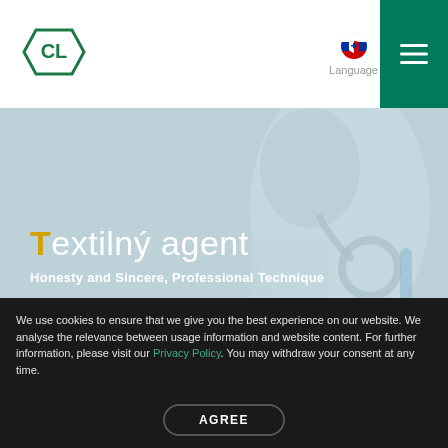[Figure (logo): CL logo — a diamond/hexagonal shape with 'CL' letters in green, bordered in green]
Language
Textilný agent
Honesty and Sincere, Professional Technique
We use cookies to ensure that we give you the best experience on our website. We analyse the relevance between usage information and website content. For further information, please visit our Privacy Policy. You may withdraw your consent at any time.
AGREE